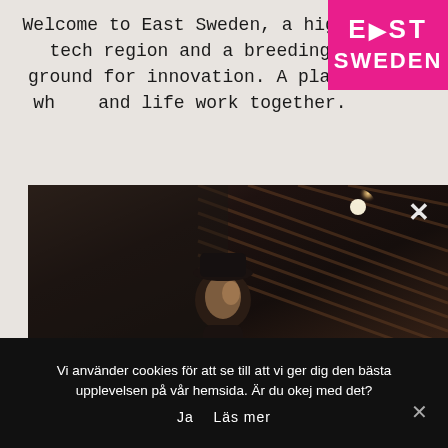Welcome to East Sweden, a high-tech region and a breeding ground for innovation. A place wh... and life work together.
[Figure (logo): East Sweden logo — pink/magenta background with white bold text: E>ST SWEDEN]
[Figure (photo): Dark atmospheric photo of a person looking upward, standing against a wooden building facade, with a bright light source in the upper right corner. A white X close button is visible in the top right.]
Vi använder cookies för att se till att vi ger dig den bästa upplevelsen på vår hemsida. Är du okej med det?
Ja   Läs mer